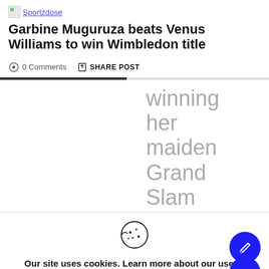Sportzdose
Garbine Muguruza beats Venus Williams to win Wimbledon title
0 Comments   SHARE POST
winning her maiden Grand Slam
Our site uses cookies. Learn more about our use of cookies: cookie policy